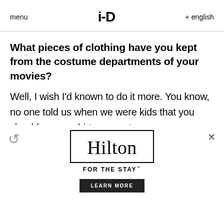menu   i-D   + english
What pieces of clothing have you kept from the costume departments of your movies?
Well, I wish I'd known to do it more. You know, no one told us when we were kids that you should save a shirt or a costume or a prop, you know, and it's such a gift to have those things. I have from the film Rambling Rose, and I have Nicholas Cage's snakeskin jacket from Wild at
[Figure (other): Hilton advertisement with logo, tagline FOR THE STAY, and LEARN MORE button, with a close X and refresh icon overlay]